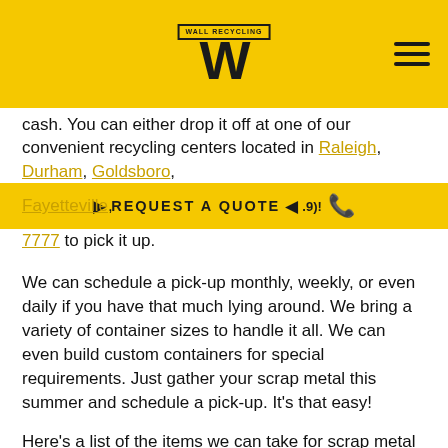Wall Recycling logo and navigation header
cash. You can either drop it off at one of our convenient recycling centers located in Raleigh, Durham, Goldsboro, Fayetteville, [REQUEST A QUOTE] [phone number] 7777 to pick it up.
We can schedule a pick-up monthly, weekly, or even daily if you have that much lying around. We bring a variety of container sizes to handle it all. We can even build custom containers for special requirements. Just gather your scrap metal this summer and schedule a pick-up. It's that easy!
Here's a list of the items we can take for scrap metal recycling: